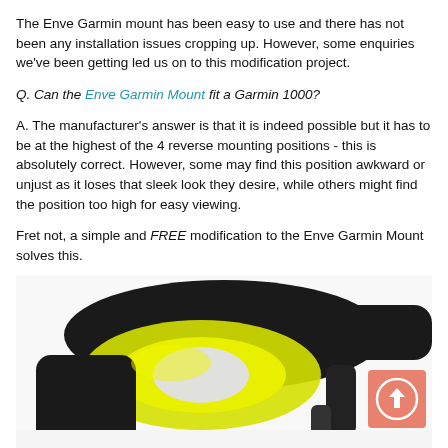The Enve Garmin mount has been easy to use and there has not been any installation issues cropping up. However, some enquiries we've been getting led us on to this modification project.
Q. Can the Enve Garmin Mount fit a Garmin 1000?
A. The manufacturer's answer is that it is indeed possible but it has to be at the highest of the 4 reverse mounting positions - this is absolutely correct. However, some may find this position awkward or unjust as it loses that sleek look they desire, while others might find the position too high for easy viewing.
Fret not, a simple and FREE modification to the Enve Garmin Mount solves this.
[Figure (photo): Close-up photo of a bicycle handlebar/stem area with a yellow Enve mount component visible, black frame, white background, with a pink/salmon colored button icon overlay in the bottom right]